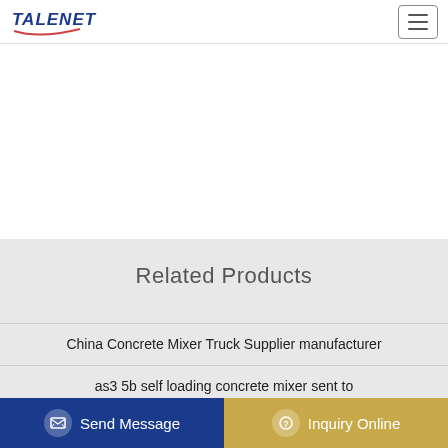TALENET
Related Products
China Concrete Mixer Truck Supplier manufacturer
as3 5b self loading concrete mixer sent to
Z00MLION 6m3 Concrete Mixer Truck K6JB-R with New T
Concrete Cement Mixing Plant Manufacturer from Ahmedabad